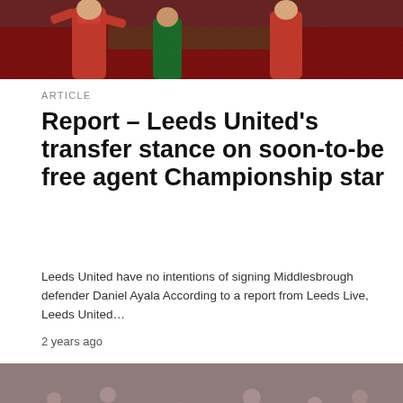[Figure (photo): Football players in red kits, cropped top section showing upper bodies]
ARTICLE
Report – Leeds United's transfer stance on soon-to-be free agent Championship star
Leeds United have no intentions of signing Middlesbrough defender Daniel Ayala According to a report from Leeds Live, Leeds United…
2 years ago
[Figure (photo): Football player in dark red/maroon Nurnberg kit dribbling on the pitch, with another player behind him, crowd in background. Scroll-to-top button overlaid at bottom right.]